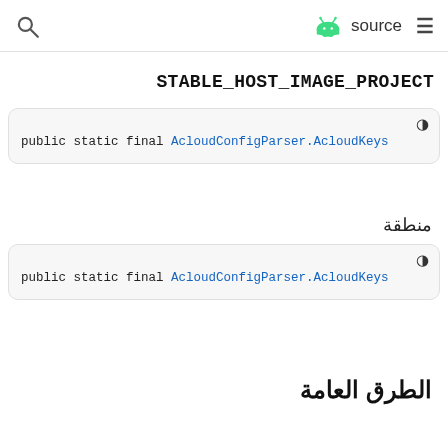source (Android) navigation header
STABLE_HOST_IMAGE_PROJECT
public static final AcloudConfigParser.AcloudKeys
منطقة
public static final AcloudConfigParser.AcloudKeys
الطرق العامة